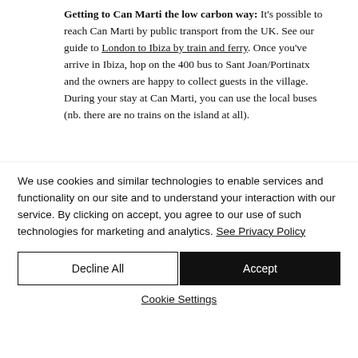Getting to Can Marti the low carbon way: It's possible to reach Can Marti by public transport from the UK. See our guide to London to Ibiza by train and ferry. Once you've arrive in Ibiza, hop on the 400 bus to Sant Joan/Portinatx and the owners are happy to collect guests in the village. During your stay at Can Marti, you can use the local buses (nb. there are no trains on the island at all).
We use cookies and similar technologies to enable services and functionality on our site and to understand your interaction with our service. By clicking on accept, you agree to our use of such technologies for marketing and analytics. See Privacy Policy